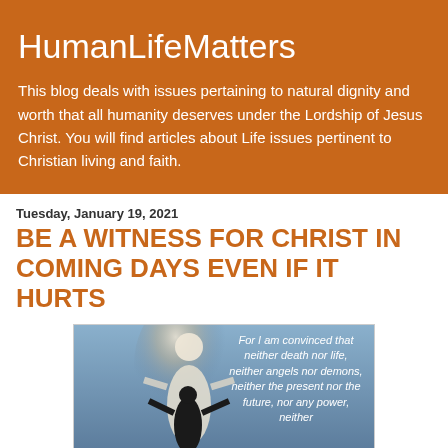HumanLifeMatters
This blog deals with issues pertaining to natural dignity and worth that all humanity deserves under the Lordship of Jesus Christ. You will find articles about Life issues pertinent to Christian living and faith.
Tuesday, January 19, 2021
BE A WITNESS FOR CHRIST IN COMING DAYS EVEN IF IT HURTS
[Figure (photo): A person with arms outstretched silhouetted against a glowing figure of Jesus, with a Bible verse overlay: 'For I am convinced that neither death nor life, neither angels nor demons, neither the present nor the future, nor any power, neither']